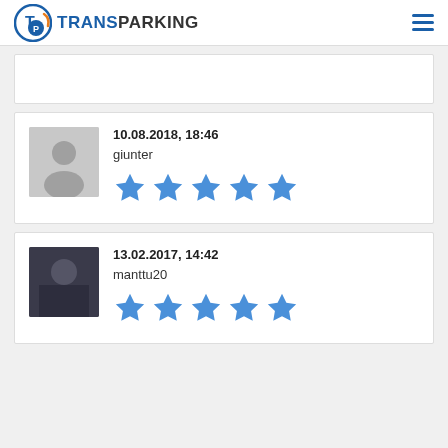TRANSPARKING
10.08.2018, 18:46
giunter
★★★★★
13.02.2017, 14:42
manttu20
★★★★★